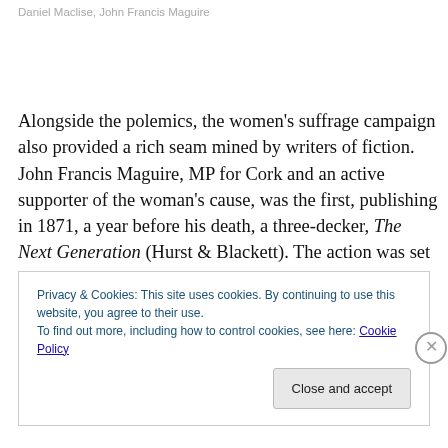Daniel Maclise, John Francis Maguire
Alongside the polemics, the women's suffrage campaign also provided a rich seam mined by writers of fiction. John Francis Maguire, MP for Cork and an active supporter of the woman's cause, was the first, publishing in 1871, a year before his death, a three-decker, The Next Generation (Hurst & Blackett). The action was set in 1891,
Privacy & Cookies: This site uses cookies. By continuing to use this website, you agree to their use.
To find out more, including how to control cookies, see here: Cookie Policy
Close and accept